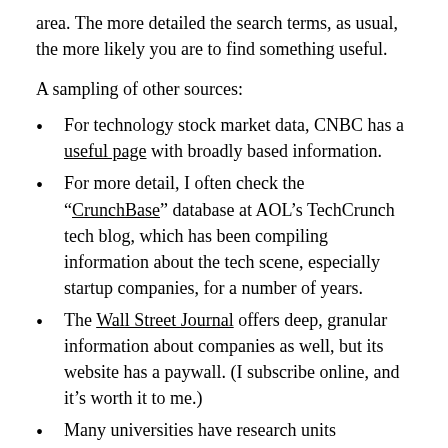area. The more detailed the search terms, as usual, the more likely you are to find something useful.
A sampling of other sources:
For technology stock market data, CNBC has a useful page with broadly based information.
For more detail, I often check the “CrunchBase” database at AOL’s TechCrunch tech blog, which has been compiling information about the tech scene, especially startup companies, for a number of years.
The Wall Street Journal offers deep, granular information about companies as well, but its website has a paywall. (I subscribe online, and it’s worth it to me.)
Many universities have research units generating significant amounts of data. Typically, these are housed in centers or institutes focusing on one